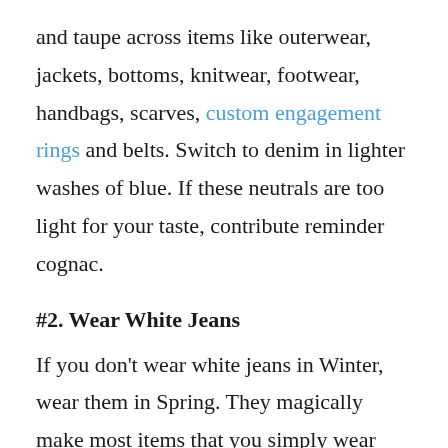and taupe across items like outerwear, jackets, bottoms, knitwear, footwear, handbags, scarves, custom engagement rings and belts. Switch to denim in lighter washes of blue. If these neutrals are too light for your taste, contribute reminder cognac.
#2. Wear White Jeans
If you don't wear white jeans in Winter, wear them in Spring. They magically make most items that you simply wear with them look crisp and fresh. Wear them with solid or